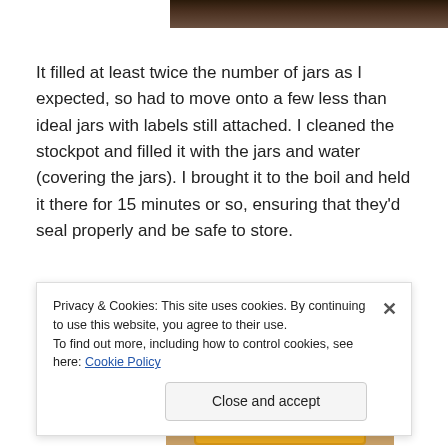[Figure (photo): Partial view of a person's head/hair at top of page, cropped]
It filled at least twice the number of jars as I expected, so had to move onto a few less than ideal jars with labels still attached. I cleaned the stockpot and filled it with the jars and water (covering the jars). I brought it to the boil and held it there for 15 minutes or so, ensuring that they'd seal properly and be safe to store.
[Figure (photo): Close-up photo of a jar with a red and white checkered lid, containing an orange/amber colored preserve or jam]
Privacy & Cookies: This site uses cookies. By continuing to use this website, you agree to their use.
To find out more, including how to control cookies, see here: Cookie Policy
Close and accept